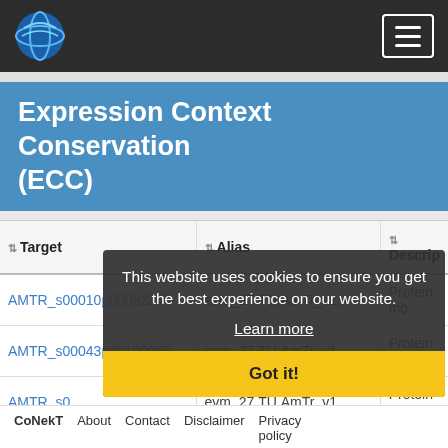CoNekT — Navigation bar with logo and menu
Expression Context Conservation (ECC)
| Target | Alias | Descrip |
| --- | --- | --- |
| AMTR_s00010p00092340 | evm_27.TU.AmTr_v1... | Protein mo |
| AMTR_s00043p00100060 | evm_27.TU.AmTr_v1... | Protein mo |
| AMTR_s0... | evm_27.TU.AmTr_v1... | Protein mo |
| AMTR_s00106p00032210 | evm_27.TU.AmTr_v1... | Protein mo |
| AMTR_s00106p00036370 | evm_27.TU.AmTr_v1... | Protein mo |
| AMTR_s00106p00037170 | evm_27.TU.AmTr_v1... | Protein mo |
This website uses cookies to ensure you get the best experience on our website. Learn more Got it!
CoNekT  About  Contact  Disclaimer  Privacy policy